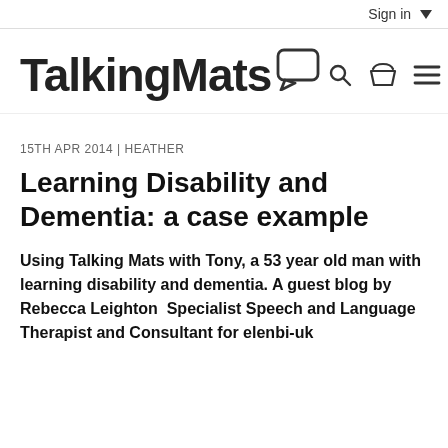Sign in
[Figure (logo): TalkingMats logo with speech bubble icon, search icon, basket icon, and hamburger menu icon]
15TH APR 2014 | HEATHER
Learning Disability and Dementia: a case example
Using Talking Mats with Tony, a 53 year old man with learning disability and dementia. A guest blog by Rebecca Leighton  Specialist Speech and Language Therapist and Consultant for elenbi-uk